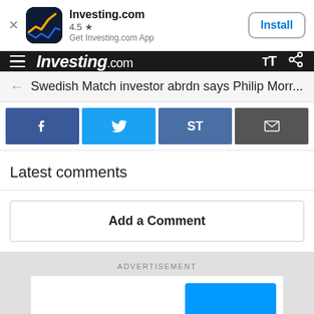[Figure (screenshot): App install banner for Investing.com with icon, 4.5 star rating, and Install button]
Investing.com navigation bar with hamburger menu, logo, TT and share icons
Swedish Match investor abrdn says Philip Morr...
[Figure (infographic): Social sharing buttons: Facebook, Twitter, ST, Email]
Latest comments
Add a Comment
ADVERTISEMENT